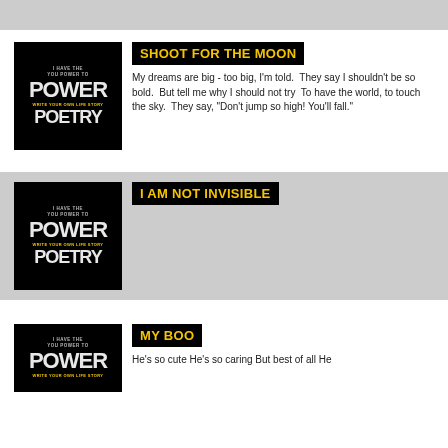[Figure (illustration): Gray top banner bar]
SHOOT FOR THE MOON
My dreams are big - too big, I'm told.  They say I shouldn't be so bold.  But tell me why I should not try  To have the world, to touch the sky.  They say, "Don't jump so high! You'll fall."
I AM NOT INVISIBLE
MY BOO
He's so cute He's so caring But best of all He